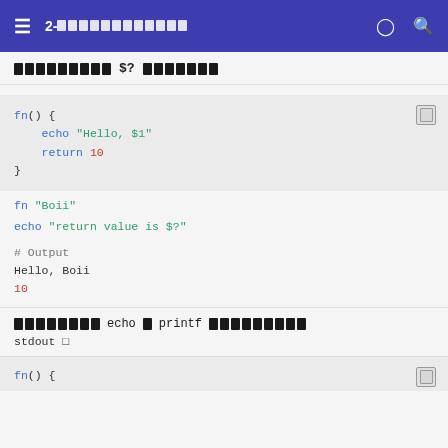2-[redacted]
[redacted] $? [redacted]
fn() {
    echo "Hello, $1"
    return 10
}
fn "Boii"
echo "return value is $?"
# Output
Hello, Boii
10
[redacted] echo [redacted] printf [redacted] stdout
fn() {